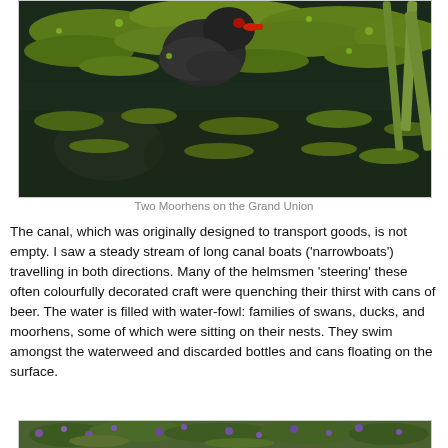[Figure (photo): A moorhen bird on water covered with green duckweed/waterweed, with reflections visible in the dark water and aquatic plants on the right side. Two moorhens on the Grand Union canal.]
Two Moorhens on the Grand Union
The canal, which was originally designed to transport goods, is not empty. I saw a steady stream of long canal boats ('narrowboats') travelling in both directions. Many of the helmsmen 'steering' these often colourfully decorated craft were quenching their thirst with cans of beer. The water is filled with water-fowl: families of swans, ducks, and moorhens, some of which were sitting on their nests. They swim amongst the waterweed and discarded bottles and cans floating on the surface.
[Figure (photo): Partial view of another canal scene with purple flowers and greenery along the canal bank.]